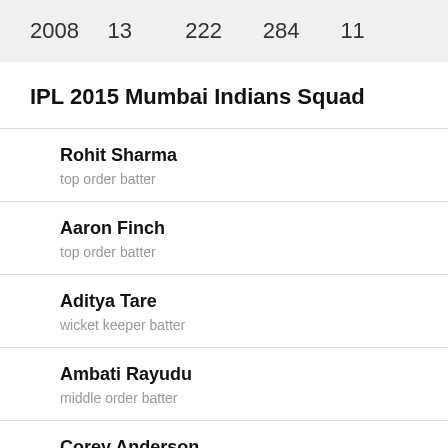| Year | Col2 | Col3 | Col4 | Col5 |
| --- | --- | --- | --- | --- |
| 2008 | 13 | 222 | 284 | 11 |
IPL 2015 Mumbai Indians Squad
Rohit Sharma — top order batter
Aaron Finch — top order batter
Aditya Tare — wicket keeper batter
Ambati Rayudu — middle order batter
Corey Anderson